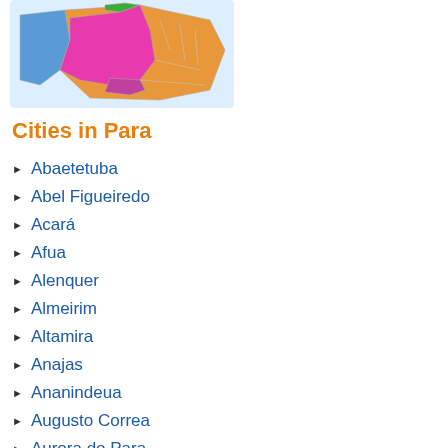[Figure (map): Colorful regional map of Brazil highlighting the state of Pará and surrounding states in pink, orange, blue, and green colors]
Cities in Para
Abaetetuba
Abel Figueiredo
Acará
Afua
Alenquer
Almeirim
Altamira
Anajas
Ananindeua
Augusto Correa
Aurora do Para